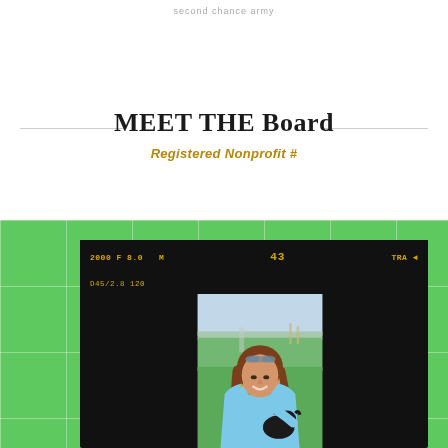second chance army
MEET THE Board
Registered Nonprofit #
[Figure (photo): Film-strip framed photograph of a smiling woman with long brown hair and sunglasses on her head, wearing a light blue hoodie and holding a small black dog, set against a green tiled background]